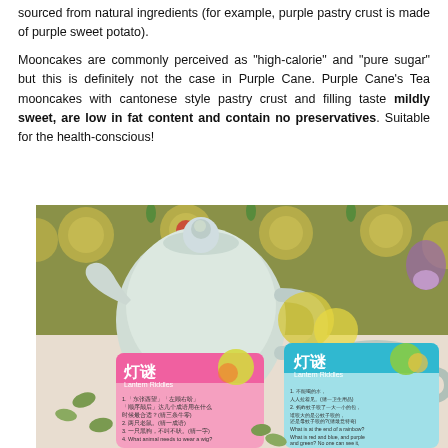sourced from natural ingredients (for example, purple pastry crust is made of purple sweet potato).
Mooncakes are commonly perceived as "high-calorie" and "pure sugar" but this is definitely not the case in Purple Cane. Purple Cane's Tea mooncakes with cantonese style pastry crust and filling taste mildly sweet, are low in fat content and contain no preservatives. Suitable for the health-conscious!
[Figure (photo): A photo showing a white ceramic teapot and a cup of tea on a decorative background, with two colorful Lantern Riddles cards (灯谜) featuring Chinese text and riddles in English and Chinese, alongside some small green oval-shaped items scattered on the table.]